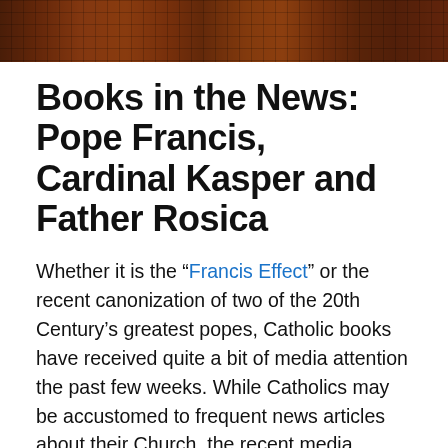[Figure (photo): Mosaic or tiled decorative image at the top of the page with warm brown, orange, and red tones]
Books in the News: Pope Francis, Cardinal Kasper and Father Rosica
Whether it is the “Francis Effect” or the recent canonization of two of the 20th Century’s greatest popes, Catholic books have received quite a bit of media attention the past few weeks. While Catholics may be accustomed to frequent news articles about their Church, the recent media attention has often been particularly positive. One might even say it has been thoughtful at times, with critical reviews and analysis of the debates and discussions taking place in Rome. While not everyone may agree with journalists’ assessment of Catholic matters, we can’t help